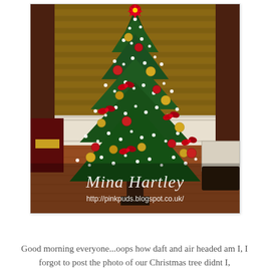[Figure (photo): A decorated Christmas tree with twinkling white lights, gold and red ornament balls, red bow decorations, and a red poinsettia at the top. The tree stands on a hardwood floor in a corner of a room with wooden venetian blinds on the windows and white wainscoting on the lower walls. A watermark reads 'Mina Hartley' in italic script and 'http://pinkpuds.blogspot.co.uk/' below it.]
Good morning everyone...oops how daft and air headed am I, I forgot to post the photo of our Christmas tree didnt I,